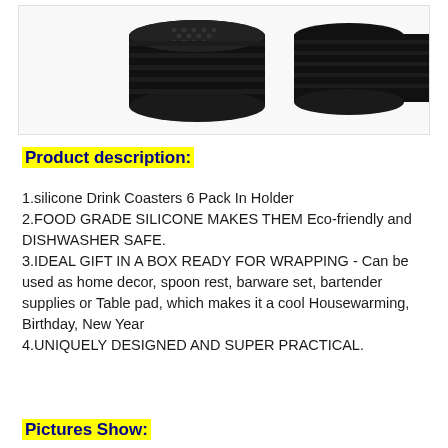[Figure (photo): Product photo showing black silicone drink coasters in a holder, photographed on white background. Two cylindrical black silicone objects visible.]
Product description:
1.silicone Drink Coasters 6 Pack In Holder
2.FOOD GRADE SILICONE MAKES THEM Eco-friendly and DISHWASHER SAFE.
3.IDEAL GIFT IN A BOX READY FOR WRAPPING - Can be used as home decor, spoon rest, barware set, bartender supplies or Table pad, which makes it a cool Housewarming, Birthday, New Year
4.UNIQUELY DESIGNED AND SUPER PRACTICAL.
Pictures Show: